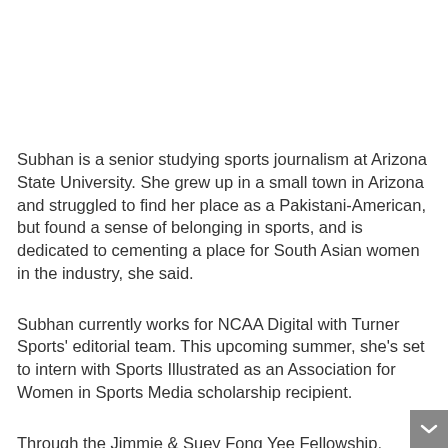Subhan is a senior studying sports journalism at Arizona State University. She grew up in a small town in Arizona and struggled to find her place as a Pakistani-American, but found a sense of belonging in sports, and is dedicated to cementing a place for South Asian women in the industry, she said.
Subhan currently works for NCAA Digital with Turner Sports' editorial team. This upcoming summer, she's set to intern with Sports Illustrated as an Association for Women in Sports Media scholarship recipient.
Through the Jimmie & Suey Fong Yee Fellowship, Subahn will collaborate with AAJA to produce a story on the growth of women's cricket breaking cultural barriers in South Asia.